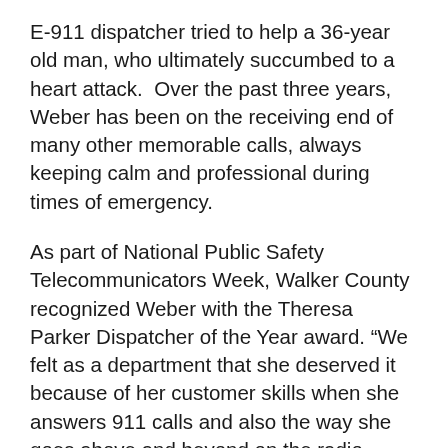E-911 dispatcher tried to help a 36-year old man, who ultimately succumbed to a heart attack.  Over the past three years, Weber has been on the receiving end of many other memorable calls, always keeping calm and professional during times of emergency.
As part of National Public Safety Telecommunicators Week, Walker County recognized Weber with the Theresa Parker Dispatcher of the Year award. “We felt as a department that she deserved it because of her customer skills when she answers 911 calls and also the way she goes above and beyond on the radio helping first responders get to where they need to go,” said Scott Wooten, Operations Manager, Walker County E-911.
Along with being named the Theresa Parker Dispatcher of the Year, Weber received two lifesaving commendations for talking callers through CPR over